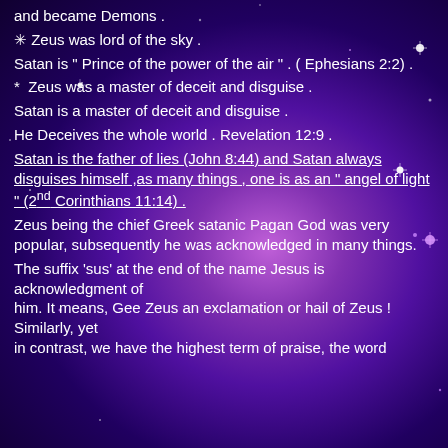and became Demons .
* Zeus was lord of the sky .
Satan is " Prince of the power of the air " . ( Ephesians 2:2) .
*  Zeus was a master of deceit and disguise .
Satan is a master of deceit and disguise .
He Deceives the whole world . Revelation 12:9 .
Satan is the father of lies (John 8:44) and Satan always disguises himself ,as many things , one is as an " angel of light " (2nd Corinthians 11:14) .
Zeus being the chief Greek satanic Pagan God was very popular, subsequently he was acknowledged in many things.
The suffix 'sus' at the end of the name Jesus is acknowledgment of him. It means, Gee Zeus an exclamation or hail of Zeus ! Similarly, yet in contrast, we have the highest term of praise, the word